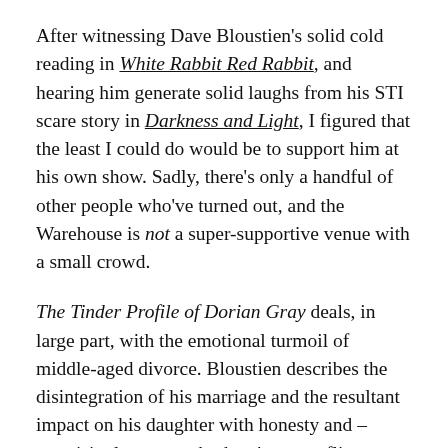After witnessing Dave Bloustien's solid cold reading in White Rabbit Red Rabbit, and hearing him generate solid laughs from his STI scare story in Darkness and Light, I figured that the least I could do would be to support him at his own show. Sadly, there's only a handful of other people who've turned out, and the Warehouse is not a super-supportive venue with a small crowd.
The Tinder Profile of Dorian Gray deals, in large part, with the emotional turmoil of middle-aged divorce. Bloustien describes the disintegration of his marriage and the resultant impact on his daughter with honesty and – surprisingly – warmth; there's no conflict sought with his ex-partner, which feels refreshing onstage (and, strangely enough, familiar to me). But heartstrings are tugged when he talks of the impact of his job on his daughter… but there's always joy to be found, too, as Bloustien lights up